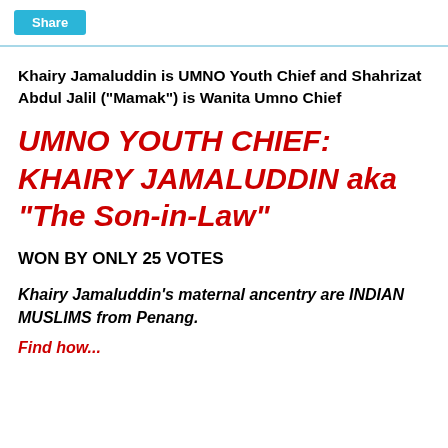Share
Khairy Jamaluddin is UMNO Youth Chief and Shahrizat Abdul Jalil ("Mamak") is Wanita Umno Chief
UMNO YOUTH CHIEF: KHAIRY JAMALUDDIN aka "The Son-in-Law"
WON BY ONLY 25 VOTES
Khairy Jamaluddin's maternal ancentry are INDIAN MUSLIMS from Penang.
Find how...